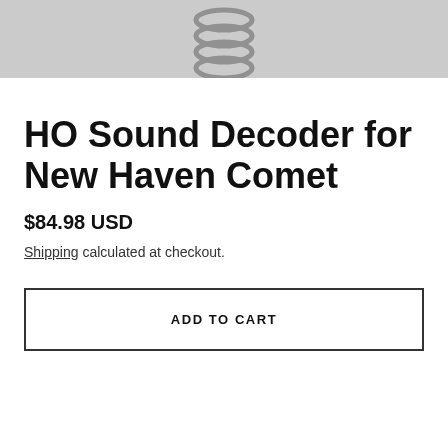[Figure (photo): Top portion of a product photo showing what appears to be a coil or spring component against a light background, cropped at the top of the page.]
HO Sound Decoder for New Haven Comet
$84.98 USD
Shipping calculated at checkout.
ADD TO CART